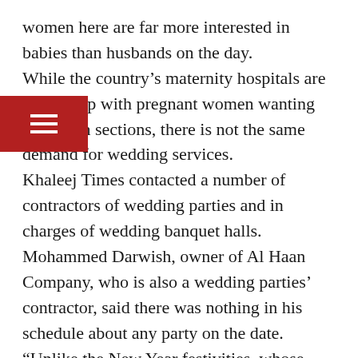women here are far more interested in babies than husbands on the day. While the country's maternity hospitals are booked up with pregnant women wanting caesarean sections, there is not the same demand for wedding services. Khaleej Times contacted a number of contractors of wedding parties and in charges of wedding banquet halls. Mohammed Darwish, owner of Al Haan Company, who is also a wedding parties' contractor, said there was nothing in his schedule about any party on the date. “Unlike the New Year festivities, whose arrangements will begin next week, and Singer